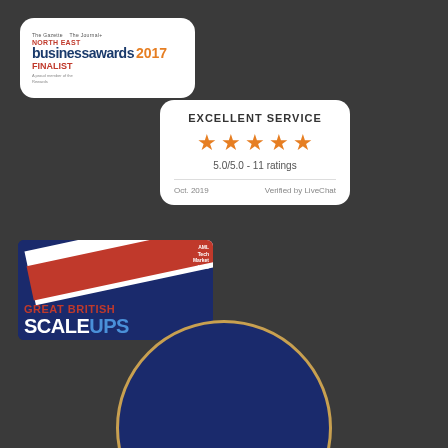[Figure (logo): North East Business Awards 2017 Finalist badge with red V arrow logo]
[Figure (infographic): Excellent Service badge showing 5 orange stars, rating 5.0/5.0 - 11 ratings, Oct. 2019, Verified by LiveChat]
[Figure (logo): Great British Scale Ups badge with diagonal union jack stripes and AML Tech Market View logo]
FREE THINGS
Customers on Video
Free Full Feature Trial
[Figure (illustration): Dark navy circular badge partially visible at bottom of page with gold border]